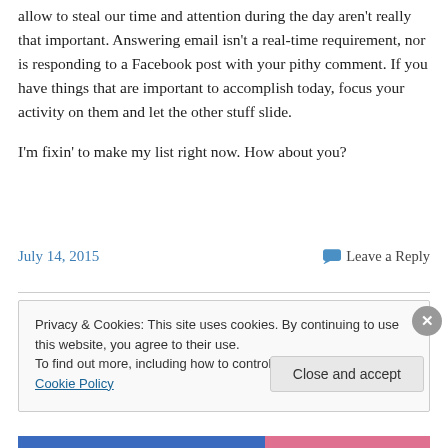allow to steal our time and attention during the day aren't really that important. Answering email isn't a real-time requirement, nor is responding to a Facebook post with your pithy comment. If you have things that are important to accomplish today, focus your activity on them and let the other stuff slide.
I'm fixin' to make my list right now. How about you?
July 14, 2015
Leave a Reply
Privacy & Cookies: This site uses cookies. By continuing to use this website, you agree to their use.
To find out more, including how to control cookies, see here: Cookie Policy
Close and accept